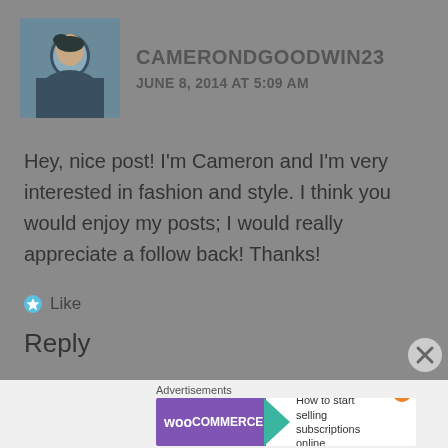[Figure (photo): Avatar photo of Cameron Goodwin, a young man in a dark top]
CAMERONDGOODWIN23
JUNE 8, 2014 AT 5:09 AM
Hey, nice post! I’m Cameron and I’m very interested in fashion and style. I think you would enjoy my posts; I would really appreciate a follow back! Thanks!
Like
Reply
[Figure (logo): Avatar icon of BenjaminSaccaggi, circular icon with recycling symbol on dark blue background]
BENJAMINSACCAGGI
JUNE 8, 2014 AT 3:44 PM
Advertisements
[Figure (screenshot): WooCommerce advertisement banner: How to start selling subscriptions online]